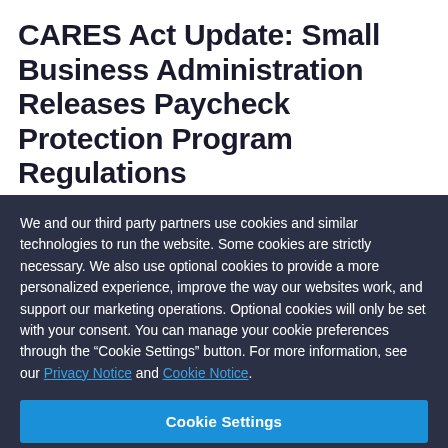CARES Act Update: Small Business Administration Releases Paycheck Protection Program Regulations
Evan Hollander, Howard Goldwasser and Jonas Robison
We and our third party partners use cookies and similar technologies to run the website. Some cookies are strictly necessary. We also use optional cookies to provide a more personalized experience, improve the way our websites work, and support our marketing operations. Optional cookies will only be set with your consent. You can manage your cookie preferences through the “Cookie Settings” button. For more information, see our Privacy Notice and Cookie Notice.
Cookie Settings
Reject All